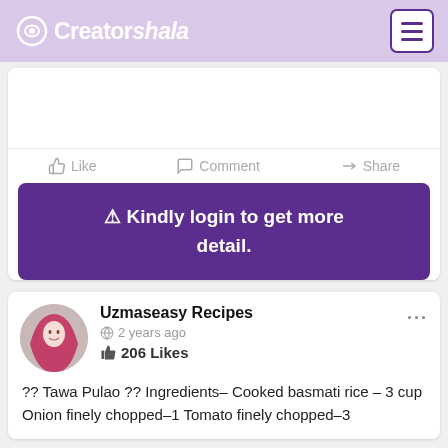Creatorshala
[Figure (screenshot): Like, Comment, Share action bar with empty post content area above]
⚠ Kindly login to get more detail.
Uzmaseasy Recipes · 2 years ago · 206 Likes
?? Tawa Pulao ?? Ingredients– Cooked basmati rice – 3 cup Onion finely chopped–1 Tomato finely chopped–3